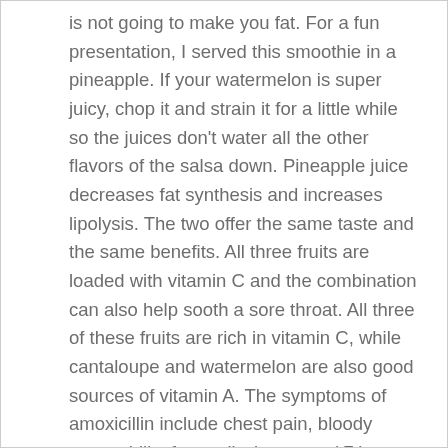is not going to make you fat. For a fun presentation, I served this smoothie in a pineapple. If your watermelon is super juicy, chop it and strain it for a little while so the juices don't water all the other flavors of the salsa down. Pineapple juice decreases fat synthesis and increases lipolysis. The two offer the same taste and the same benefits. All three fruits are loaded with vitamin C and the combination can also help sooth a sore throat. All three of these fruits are rich in vitamin C, while cantaloupe and watermelon are also good sources of vitamin A. The symptoms of amoxicillin include chest pain, bloody nose, chills, fever, dizziness etc ( 7 ). Blend and blitz Use a food processor if you have one.If not a stick blender watermelon orange juice recipe - i am bringing a refreshing combination of watermelon and orange in one juice topped with mint leaves.